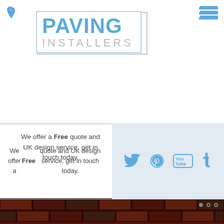[Figure (logo): Paving Installers logo with blue PAVING text and grey INSTALLERS text in a bordered box]
We offer a Free quote and UK design service, get in touch today.
[Figure (infographic): Social media icons: Twitter, Pinterest, YouTube, Tumblr on grey background]
[Figure (photo): Photo of red/brown brick paving pattern]
Paving Patterns and Designs in Cardiff
We have a number of paving patterns and designs available for you to choose from to completely transform your existing driveway.